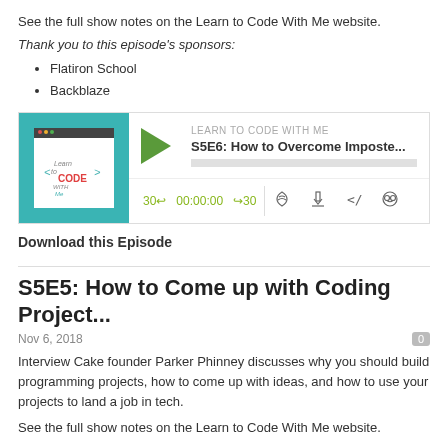See the full show notes on the Learn to Code With Me website.
Thank you to this episode's sponsors:
Flatiron School
Backblaze
[Figure (screenshot): Podcast player widget for 'Learn to Code With Me' showing episode S5E6: How to Overcome Imposte... with play button, progress bar, time controls (30s back, 00:00:00, 30s forward), and icons for RSS, download, embed, and headphones.]
Download this Episode
S5E5: How to Come up with Coding Project...
Nov 6, 2018
Interview Cake founder Parker Phinney discusses why you should build programming projects, how to come up with ideas, and how to use your projects to land a job in tech.
See the full show notes on the Learn to Code With Me website.